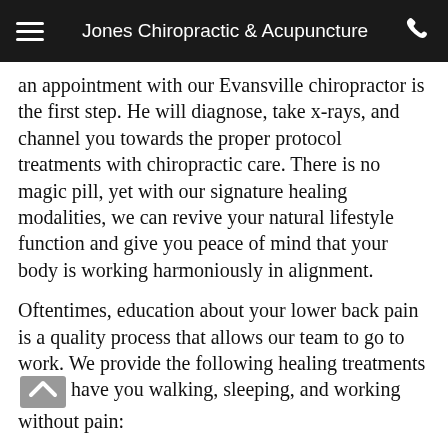Jones Chiropractic & Acupuncture
an appointment with our Evansville chiropractor is the first step. He will diagnose, take x-rays, and channel you towards the proper protocol treatments with chiropractic care. There is no magic pill, yet with our signature healing modalities, we can revive your natural lifestyle function and give you peace of mind that your body is working harmoniously in alignment.
Oftentimes, education about your lower back pain is a quality process that allows our team to go to work. We provide the following healing treatments that can have you walking, sleeping, and working without pain:
Sciatica treatment - The largest nerve in the body can also be the most affected when sitting